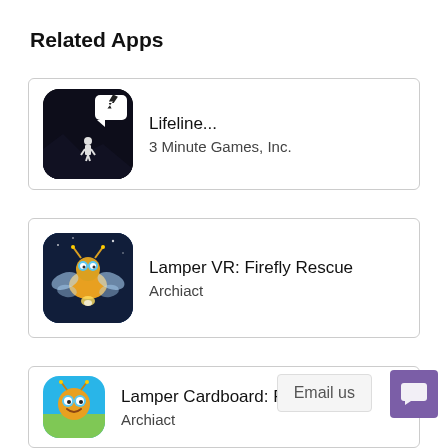Related Apps
Lifeline...
3 Minute Games, Inc.
Lamper VR: Firefly Rescue
Archiact
Lamper Cardboard: First Flight
Archiact
Email us